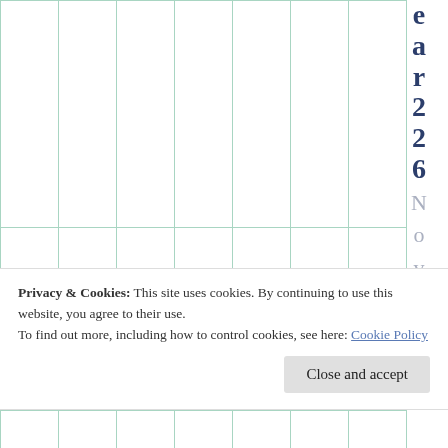[Figure (other): Calendar grid with teal/green vertical column borders on white background, showing partial calendar rows]
e a r 2 2 6 N o v e m b
Privacy & Cookies: This site uses cookies. By continuing to use this website, you agree to their use.
To find out more, including how to control cookies, see here: Cookie Policy
Close and accept